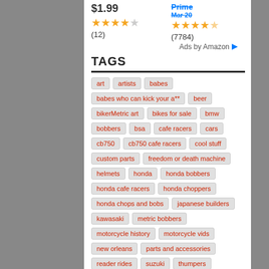$1.99 — 4 stars (12 reviews)
Prime — 4.5 stars (7784 reviews)
Ads by Amazon
TAGS
art
artists
babes
babes who can kick your a**
beer
bikerMetric art
bikes for sale
bmw
bobbers
bsa
cafe racers
cars
cb750
cb750 cafe racers
cool stuff
custom parts
freedom or death machine
helmets
honda
honda bobbers
honda cafe racers
honda choppers
honda chops and bobs
japanese builders
kawasaki
metric bobbers
motorcycle history
motorcycle vids
new orleans
parts and accessories
reader rides
suzuki
thumpers
triumph
triumph bobbers
two strokes
vintage bikes
xs650
xs650 bobbers
xs650 choppers
yamaha
yamaha bobbers